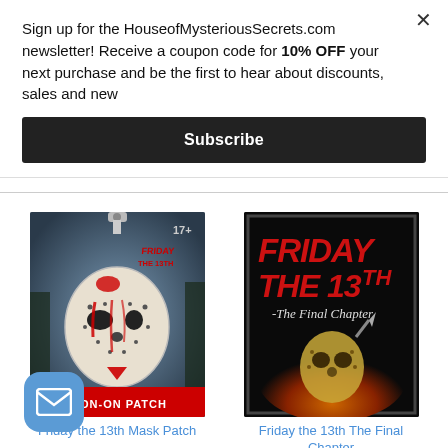Sign up for the HouseofMysteriousSecrets.com newsletter! Receive a coupon code for 10% OFF your next purchase and be the first to hear about discounts, sales and new
Subscribe
[Figure (photo): Friday the 13th Jason mask iron-on patch product packaging]
[Figure (photo): Friday the 13th The Final Chapter woven patch product]
Friday the 13th Mask Patch
Friday the 13th The Final Chapter Patch
[Figure (illustration): Blue mail/email icon button]